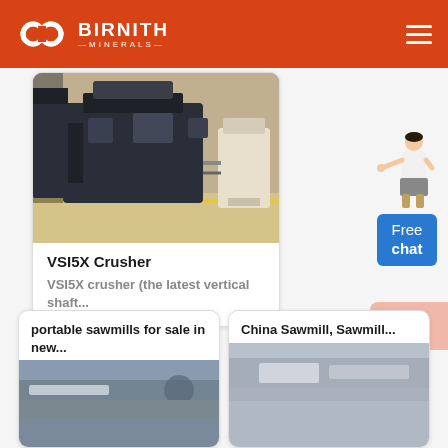BIRNITH MINERALS
[Figure (photo): VSI5X crusher machine photo in industrial setting]
VSI5X Crusher
VSI5X crusher (the latest vertical shaft...
[Figure (illustration): Free chat widget with person illustration and blue button]
portable sawmills for sale in new...
[Figure (photo): Portable sawmill photo thumbnail]
China Sawmill, Sawmill...
[Figure (photo): China sawmill photo thumbnail]